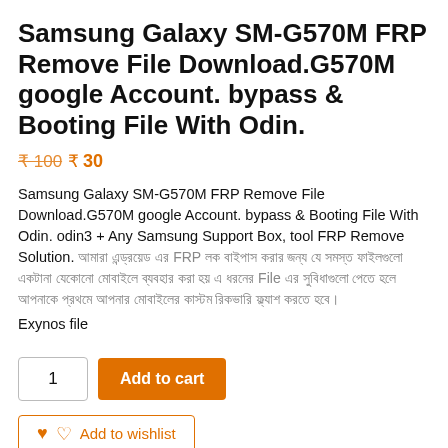Samsung Galaxy SM-G570M FRP Remove File Download.G570M google Account. bypass & Booting File With Odin.
₹100 ₹ 30
Samsung Galaxy SM-G570M FRP Remove File Download.G570M google Account. bypass & Booting File With Odin. odin3 + Any Samsung Support Box, tool FRP Remove Solution. [garbled text] File [garbled text] Exynos file
1  Add to cart
Add to wishlist